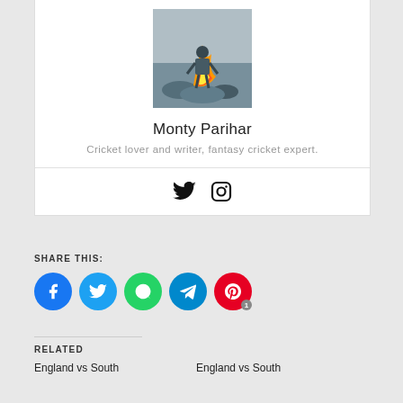[Figure (photo): Profile photo of Monty Parihar sitting near a bonfire by a body of water]
Monty Parihar
Cricket lover and writer, fantasy cricket expert.
[Figure (other): Twitter and Instagram social media icons]
SHARE THIS:
[Figure (other): Share buttons: Facebook, Twitter, WhatsApp, Telegram, Pinterest (with badge count 1)]
RELATED
England vs South
England vs South